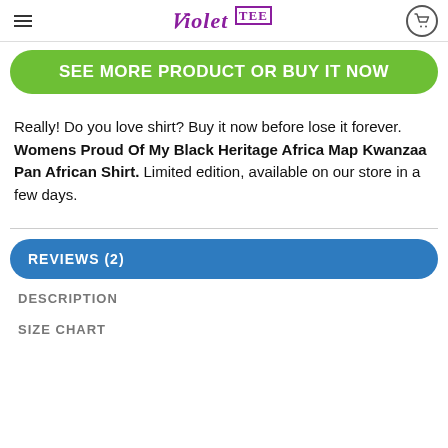Violet TEE
SEE MORE PRODUCT OR BUY IT NOW
Really! Do you love shirt? Buy it now before lose it forever. Womens Proud Of My Black Heritage Africa Map Kwanzaa Pan African Shirt. Limited edition, available on our store in a few days.
REVIEWS (2)
DESCRIPTION
SIZE CHART